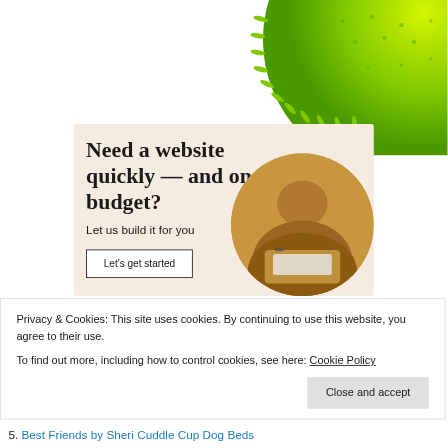[Figure (photo): Green spiky rubber ball, partially visible in the top-right corner of the page]
[Figure (infographic): Advertisement banner with beige/cream background. Heading: 'Need a website quickly — and on a budget?' Subheading: 'Let us build it for you'. Button: 'Let's get started'. Circular photo of person working on a laptop on the right side.]
Privacy & Cookies: This site uses cookies. By continuing to use this website, you agree to their use.
To find out more, including how to control cookies, see here: Cookie Policy
Close and accept
5. Best Friends by Sheri Cuddle Cup Dog Beds